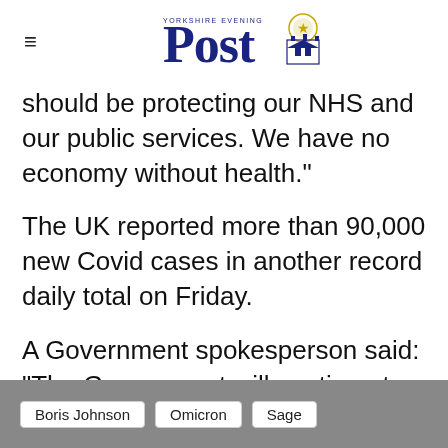Yorkshire Evening Post
should be protecting our NHS and our public services. We have no economy without health."
The UK reported more than 90,000 new Covid cases in another record daily total on Friday.
A Government spokesperson said: "The Government will continue to look closely at all the emerging data and we'll keep our measures under review as we learn more about this variant."
Boris Johnson  Omicron  Sage